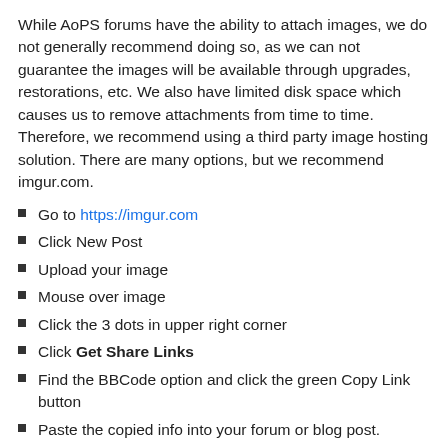While AoPS forums have the ability to attach images, we do not generally recommend doing so, as we can not guarantee the images will be available through upgrades, restorations, etc. We also have limited disk space which causes us to remove attachments from time to time. Therefore, we recommend using a third party image hosting solution. There are many options, but we recommend imgur.com.
Go to https://imgur.com
Click New Post
Upload your image
Mouse over image
Click the 3 dots in upper right corner
Click Get Share Links
Find the BBCode option and click the green Copy Link button
Paste the copied info into your forum or blog post.
Or, if you are using an online picture you can right click on it, click copy image address, and paste it into AoPS [img] [/img] tags.